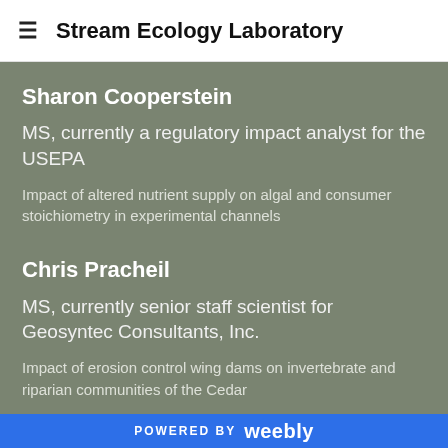Stream Ecology Laboratory
Sharon Cooperstein
MS, currently a regulatory impact analyst for the USEPA
Impact of altered nutrient supply on algal and consumer stoichiometry in experimental channels
Chris Pracheil
MS, currently senior staff scientist for Geosyntec Consultants, Inc.
Impact of erosion control wing dams on invertebrate and riparian communities of the Cedar
POWERED BY weebly